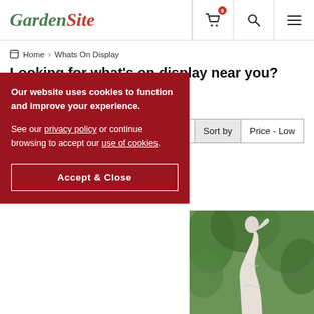GardenSite
Home > Whats On Display
Looking for what's on display near you?
≡ Refine  |  Sort by  |  Price - Low
his Range
Our website uses cookies to function and improve your experience.

See our privacy policy or continue browsing to accept our use of cookies.

Accept & Close
[Figure (photo): White garden statue of a female figure against green foliage background]